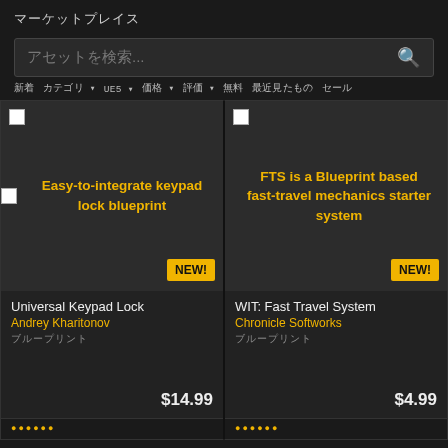マーケットプレイス
アセットを検索...
新着 カテゴリ ▾ UE5 ▾ 価格 ▾ 評価 ▾ 無料 最近見たもの セール
[Figure (screenshot): Product card for Universal Keypad Lock. Image placeholder shows yellow text: Easy-to-integrate keypad lock blueprint. NEW! badge. Author: Andrey Kharitonov. Price: $14.99]
[Figure (screenshot): Product card for WIT: Fast Travel System. Image placeholder shows yellow text: FTS is a Blueprint based fast-travel mechanics starter system. NEW! badge. Author: Chronicle Softworks. Price: $4.99]